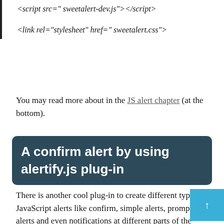<script src=" sweetalert-dev.js"></script>
<link rel="stylesheet" href=" sweetalert.css">
You may read more about in the JS alert chapter (at the bottom).
A confirm alert by using alertify.js plug-in
There is another cool plug-in to create different types of JavaScript alerts like confirm, simple alerts, prompt alerts and even notifications at different parts of the screen. This plug-in is called alertify.js which is available at the Github website.
Following is a demo of a confirm dialogue by using this plugin. See it online along with code: